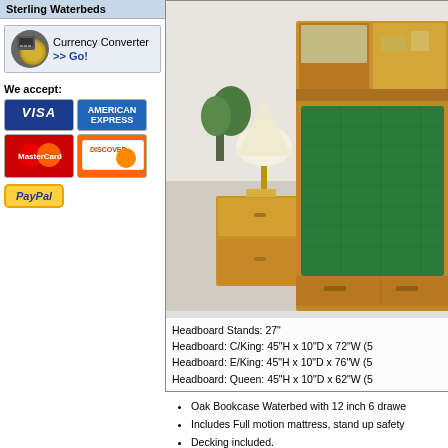Sterling Waterbeds
Currency Converter >> Go!
We accept:
[Figure (illustration): Payment method logos: Visa, American Express, MasterCard, Discover, PayPal]
[Figure (photo): Oak bookcase waterbed with nightstand and lamp, showing wood frame, green waterbed mattress, and bookcase headboard with storage]
Headboard Stands: 27"
Headboard: C/King: 45"H x 10"D x 72"W (5
Headboard: E/King: 45"H x 10"D x 76"W (5
Headboard: Queen: 45"H x 10"D x 62"W (5
Oak Bookcase Waterbed with 12 inch 6 drawe
Includes Full motion mattress, stand up safety
Decking included.
Available in super single, queen and california
You can upgrade your mattress at checkout.
Matching furniture available on our Bedroom s
Allow 4-5 weeks for free delivery to your home